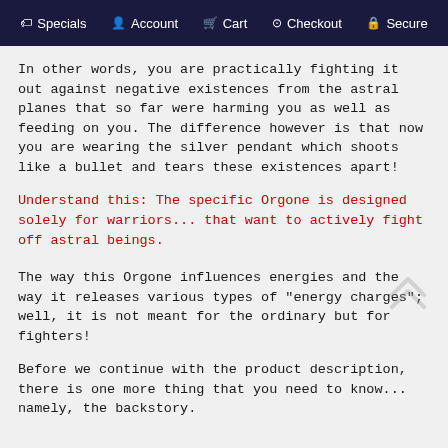Specials  Account  Cart  Checkout  Secure
In other words, you are practically fighting it out against negative existences from the astral planes that so far were harming you as well as feeding on you. The difference however is that now you are wearing the silver pendant which shoots like a bullet and tears these existences apart!
Understand this: The specific Orgone is designed solely for warriors... that want to actively fight off astral beings.
The way this Orgone influences energies and the way it releases various types of "energy charges"; well, it is not meant for the ordinary but for fighters!
Before we continue with the product description, there is one more thing that you need to know... namely, the backstory.